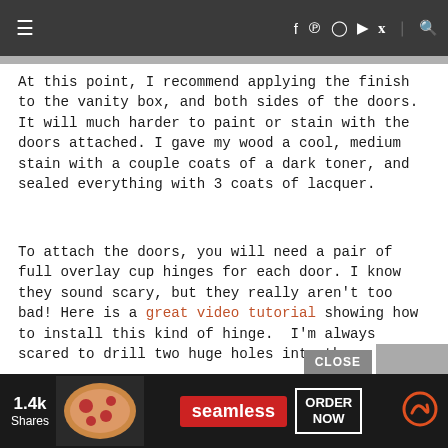≡  f p ☐ ▶ 𝕏 | 🔍
At this point, I recommend applying the finish to the vanity box, and both sides of the doors. It will much harder to paint or stain with the doors attached. I gave my wood a cool, medium stain with a couple coats of a dark toner, and sealed everything with 3 coats of lacquer.
To attach the doors, you will need a pair of full overlay cup hinges for each door. I know they sound scary, but they really aren't too bad! Here is a great video tutorial showing how to install this kind of hinge.  I'm always scared to drill two huge holes into the
[Figure (screenshot): Advertisement banner with Seamless food ordering app, showing pizza image, Seamless logo, ORDER NOW button, and 1.4k Shares count. A CLOSE button overlay visible above.]